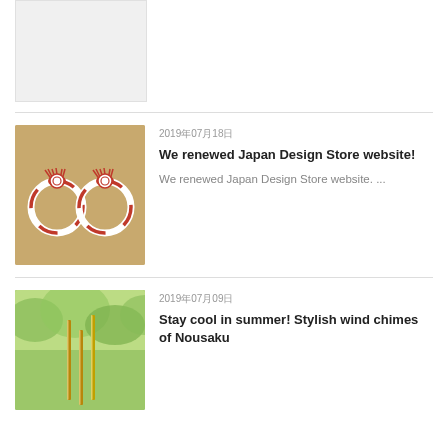[Figure (photo): Top partial article image - white/gray background photo]
[Figure (photo): Two red and white mizuhiki rope rings on tan/brown background]
2019年07月18日
We renewed Japan Design Store website!
We renewed Japan Design Store website. ...
[Figure (photo): Wind chimes of Nousaku against green trees background]
2019年07月09日
Stay cool in summer! Stylish wind chimes of Nousaku